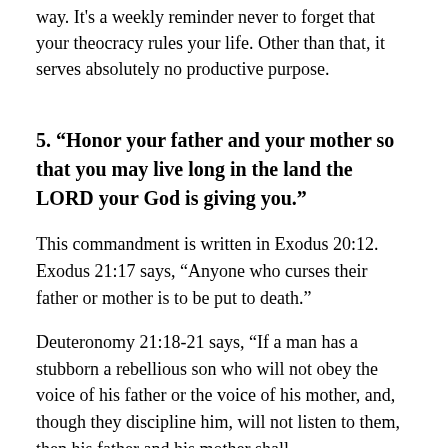way. It's a weekly reminder never to forget that your theocracy rules your life. Other than that, it serves absolutely no productive purpose.
5. “Honor your father and your mother so that you may live long in the land the LORD your God is giving you.”
This commandment is written in Exodus 20:12. Exodus 21:17 says, “Anyone who curses their father or mother is to be put to death.”
Deuteronomy 21:18-21 says, “If a man has a stubborn a rebellious son who will not obey the voice of his father or the voice of his mother, and, though they discipline him, will not listen to them, then his father and his mother shall